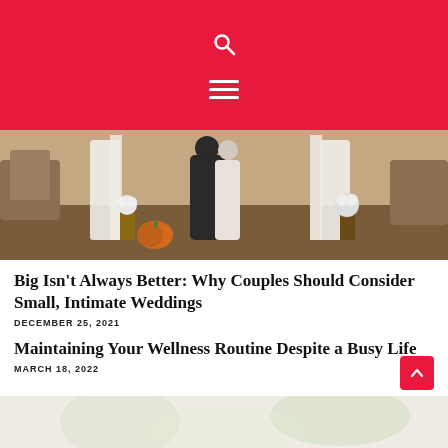Search and navigation menu
[Figure (photo): Outdoor wedding scene with a couple standing at an arch decorated with white fabric, flowers and a pumpkin on the ground, surrounded by autumn landscape]
Big Isn't Always Better: Why Couples Should Consider Small, Intimate Weddings
DECEMBER 25, 2021
Maintaining Your Wellness Routine Despite a Busy Life
MARCH 18, 2022
[Figure (photo): Partial wellness-themed image at the bottom of the page]